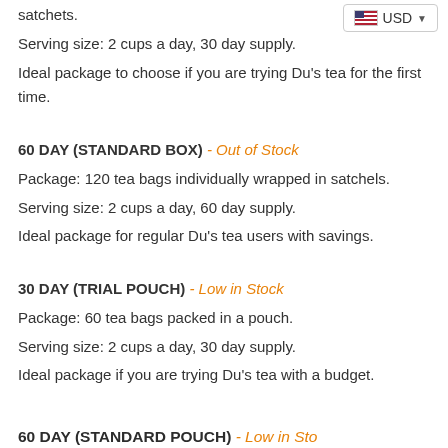satchets.
Serving size: 2 cups a day, 30 day supply.
Ideal package to choose if you are trying Du's tea for the first time.
60 DAY (STANDARD BOX)  - Out of Stock
Package: 120 tea bags individually wrapped in satchels.
Serving size: 2 cups a day, 60 day supply.
Ideal package for regular Du's tea users with savings.
30 DAY (TRIAL POUCH)  - Low in Stock
Package: 60 tea bags packed in a pouch.
Serving size: 2 cups a day, 30 day supply.
Ideal package if you are trying Du's tea with a budget.
60 DAY (STANDARD POUCH)  - Low in Stock